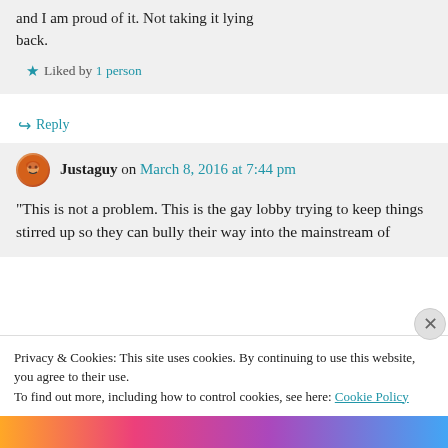and I am proud of it. Not taking it lying back.
★ Liked by 1 person
↪ Reply
Justaguy on March 8, 2016 at 7:44 pm
“This is not a problem. This is the gay lobby trying to keep things stirred up so they can bully their way into the mainstream of
Privacy & Cookies: This site uses cookies. By continuing to use this website, you agree to their use.
To find out more, including how to control cookies, see here: Cookie Policy
Close and accept